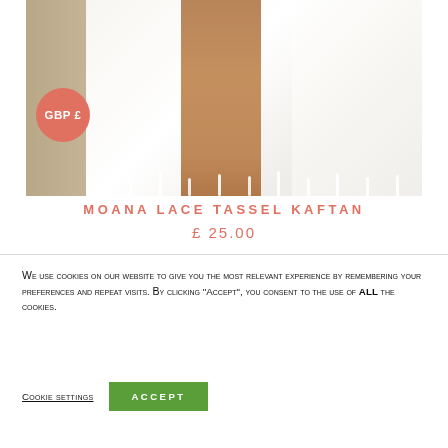[Figure (photo): A model wearing a white Moana Lace Tassel Kaftan, showing the lower body from waist down with white fabric, lace trim and tassels at the hem. A coral/salmon-colored circular badge with 'GBP £' text is overlaid on the lower-left of the photo.]
MOANA LACE TASSEL KAFTAN
£25.00
We use cookies on our website to give you the most relevant experience by remembering your preferences and repeat visits. By clicking "Accept", you consent to the use of ALL the cookies.